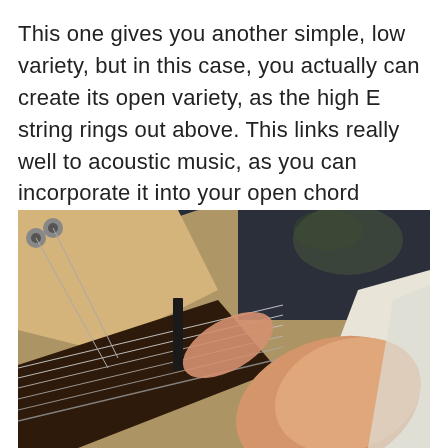This one gives you another simple, low variety, but in this case, you actually can create its open variety, as the high E string rings out above. This links really well to acoustic music, as you can incorporate it into your open chord playing.
[Figure (photo): Close-up photograph of a hand pressing down on guitar strings near the nut of an acoustic guitar. The guitar headstock with tuning pegs is visible in the upper left, and the dark fretboard is visible. The background is dark blue/black. A finger (thumb) is prominently pressing across the strings.]